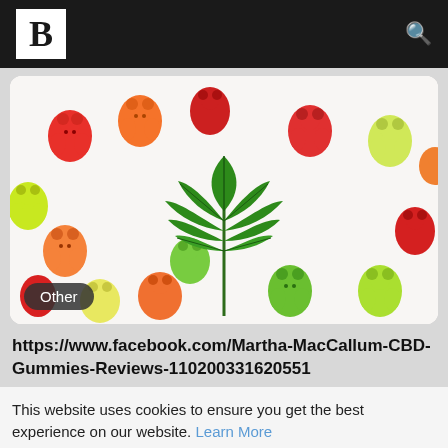B [logo] [search icon]
[Figure (photo): Photo of colorful gummy bear candies in red, orange, yellow, and green colors with a green cannabis/hemp leaf placed in the center on top of the gummies, against a white background. An 'Other' badge appears in the bottom left corner.]
https://www.facebook.com/Martha-MacCallum-CBD-Gummies-Reviews-110200331620551
This website uses cookies to ensure you get the best experience on our website. Learn More
Got It!